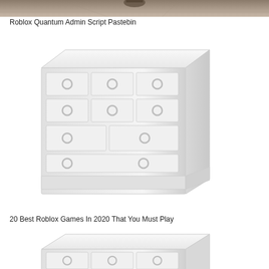[Figure (photo): Top portion of a room/ceiling photo, cropped to a thin strip at the top of the page]
Roblox Quantum Admin Script Pastebin
[Figure (photo): White wooden dresser/chest of drawers with multiple drawers and round knob handles, shown in perspective view against a white background]
20 Best Roblox Games In 2020 That You Must Play
[Figure (photo): Bottom portion of a similar white wooden dresser/chest of drawers, partially visible, cropped at the bottom of the page]